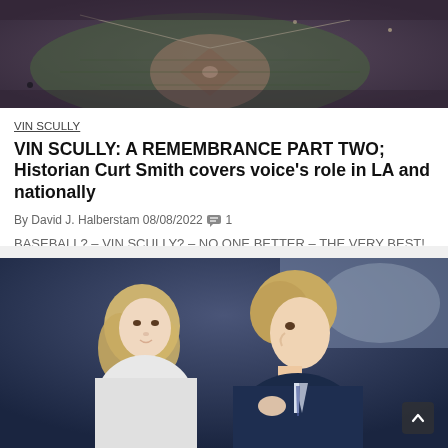[Figure (photo): Aerial view of a baseball field with dark purplish toned landscape]
VIN SCULLY
VIN SCULLY: A REMEMBRANCE PART TWO; Historian Curt Smith covers voice's role in LA and nationally
By David J. Halberstam 08/08/2022 💬 1
BASEBALL? – VIN SCULLY? – NO ONE BETTER – THE VERY BEST! On August 2, Vin [...]
[Figure (photo): Photo of Vin Scully in a dark suit standing next to a woman with blonde hair, both facing each other, stadium crowd in background]